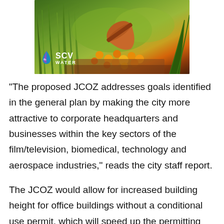[Figure (photo): Garden scene with orange/yellow flowers spilling from an overturned terracotta pot, surrounded by ornamental grasses and tropical plants. SCV Water logo in lower left corner.]
“The proposed JCOZ addresses goals identified in the general plan by making the city more attractive to corporate headquarters and businesses within the key sectors of the film/television, biomedical, technology and aerospace industries,” reads the city staff report.
The JCOZ would allow for increased building height for office buildings without a conditional use permit, which will speed up the permitting process — according to city staff — which would enhance the